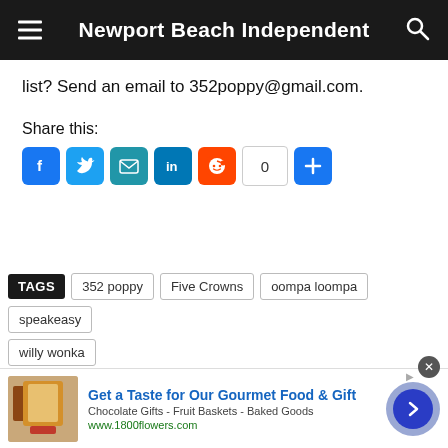Newport Beach Independent
list? Send an email to 352poppy@gmail.com.
Share this:
[Figure (infographic): Social share buttons: Facebook, Twitter, Email, LinkedIn, Reddit, share count 0, Plus/Share button]
TAGS  352 poppy  Five Crowns  oompa loompa  speakeasy  willy wonka
[Figure (infographic): Advertisement banner: Get a Taste for Our Gourmet Food & Gift. Chocolate Gifts - Fruit Baskets - Baked Goods. www.1800flowers.com]